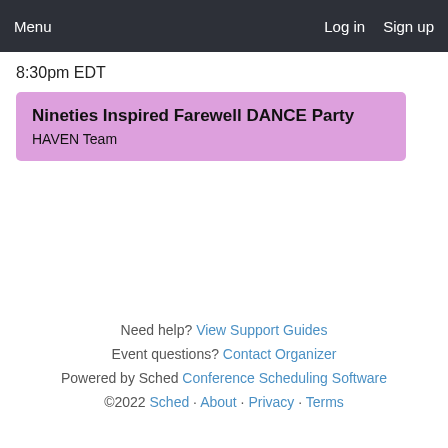Menu  Log in  Sign up
8:30pm EDT
Nineties Inspired Farewell DANCE Party
HAVEN Team
Need help? View Support Guides
Event questions? Contact Organizer
Powered by Sched Conference Scheduling Software
©2022 Sched · About · Privacy · Terms